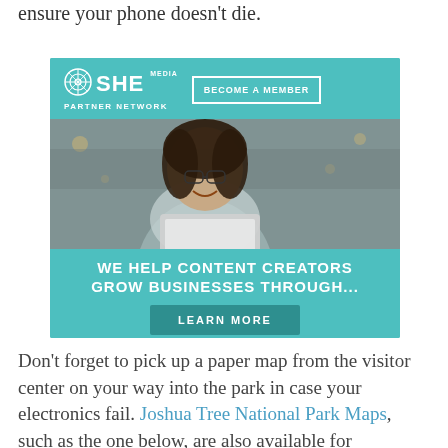ensure your phone doesn’t die.
[Figure (advertisement): SHE Media Partner Network advertisement. Teal background with logo, 'BECOME A MEMBER' button, photo of a smiling woman with glasses using a laptop, text 'WE HELP CONTENT CREATORS GROW BUSINESSES THROUGH...' and a 'LEARN MORE' button.]
Don’t forget to pick up a paper map from the visitor center on your way into the park in case your electronics fail. Joshua Tree National Park Maps, such as the one below, are also available for download from the Joshua Tree web site.